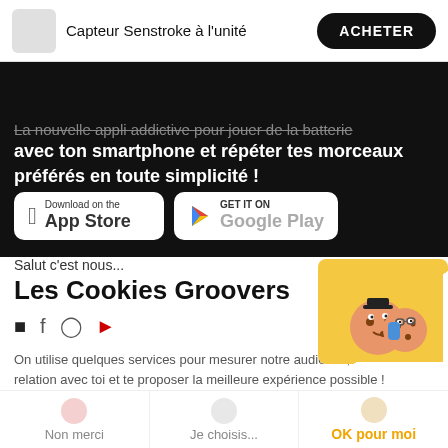Capteur Senstroke à l'unité | ACHETER
La nouvelle appli addictive pour jouer de la batterie avec ton smartphone et répéter tes morceaux préférés en toute simplicité !
[Figure (screenshot): App Store download button and Google Play Get It On button]
Salut c'est nous...
Les Cookies Groovers
[Figure (illustration): Two cartoon cookie characters on a yellow background]
On utilise quelques services pour mesurer notre audience, entretenir la relation avec toi et te proposer la meilleure expérience possible !
Lire la politique de confidentialité
Consentements certifiés par axeptio
Non merci | Je choisis | OK pour moi